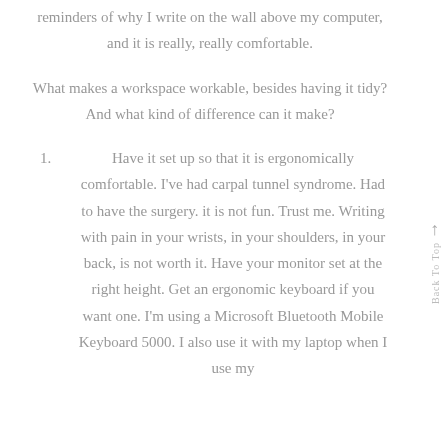reminders of why I write on the wall above my computer, and it is really, really comfortable.
What makes a workspace workable, besides having it tidy? And what kind of difference can it make?
1. Have it set up so that it is ergonomically comfortable. I've had carpal tunnel syndrome. Had to have the surgery. it is not fun. Trust me. Writing with pain in your wrists, in your shoulders, in your back, is not worth it. Have your monitor set at the right height. Get an ergonomic keyboard if you want one. I'm using a Microsoft Bluetooth Mobile Keyboard 5000. I also use it with my laptop when I use my